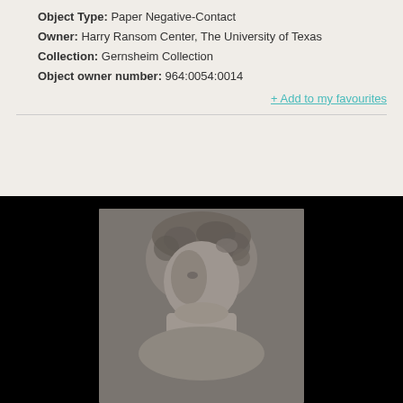Object Type: Paper Negative-Contact
Owner: Harry Ransom Center, The University of Texas
Collection: Gernsheim Collection
Object owner number: 964:0054:0014
+ Add to my favourites
[Figure (photo): A historical paper negative-contact photograph showing a portrait of a person, displayed on a dark/black background. The image is a contact print with a rectangular lighter area showing a figure against a dark surround.]